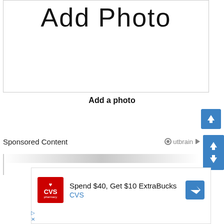[Figure (screenshot): A placeholder image box with large 'Add Photo' text displayed in a bordered rectangle]
Add a photo
[Figure (screenshot): Blue square button with white upward arrow icon]
Sponsored Content
[Figure (logo): Outbrain logo with circle icon and play arrow]
[Figure (screenshot): CVS pharmacy advertisement: Spend $40, Get $10 ExtraBucks with CVS logo and navigation icon]